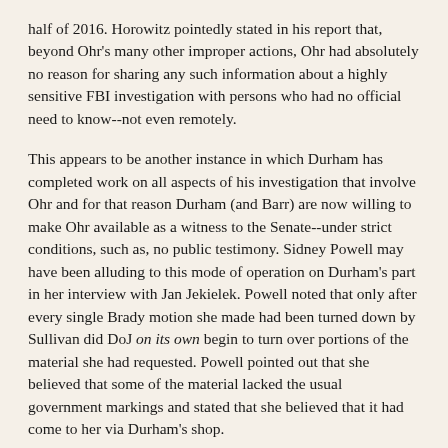half of 2016. Horowitz pointedly stated in his report that, beyond Ohr's many other improper actions, Ohr had absolutely no reason for sharing any such information about a highly sensitive FBI investigation with persons who had no official need to know--not even remotely.
This appears to be another instance in which Durham has completed work on all aspects of his investigation that involve Ohr and for that reason Durham (and Barr) are now willing to make Ohr available as a witness to the Senate--under strict conditions, such as, no public testimony. Sidney Powell may have been alluding to this mode of operation on Durham's part in her interview with Jan Jekielek. Powell noted that only after every single Brady motion she made had been turned down by Sullivan did DoJ on its own begin to turn over portions of the material she had requested. Powell pointed out that she believed that some of the material lacked the usual government markings and stated that she believed that it had come to her via Durham's shop.
While I have no experience with such high stakes public corruption investigations of high DoJ or FBI officials as we see in the Durham investigation, my belief is that the reason that Ohr (and other